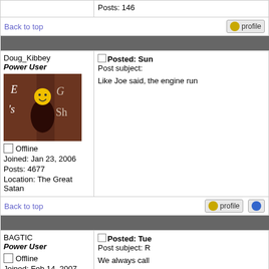Posts: 146
Back to top
Doug_Kibbey
Power User
[Figure (photo): Avatar image showing wooden blocks with chalk writing and a smiley face emoji overlay]
Offline
Joined: Jan 23, 2006
Posts: 4677
Location: The Great Satan
Posted: Sun
Post subject:
Like Joe said, the engine run
Back to top
BAGTIC
Power User
Offline
Joined: Feb 14, 2007
Posts: 4
Posted: Tue
Post subject: R
We always call